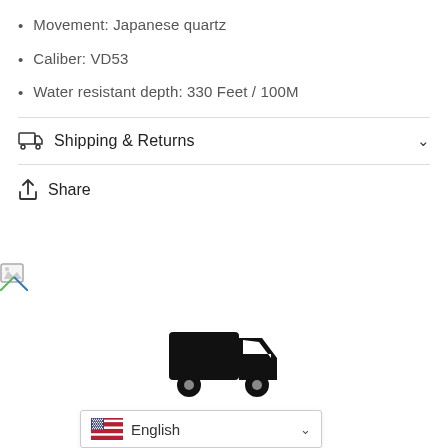Movement: Japanese quartz
Caliber: VD53
Water resistant depth: 330 Feet / 100M
Shipping & Returns
Share
[Figure (illustration): Broken image placeholder icon]
[Figure (illustration): Black delivery truck icon above the word FAST in large bold italic text]
English